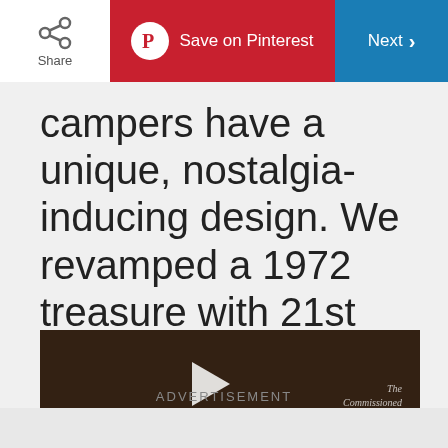Share | Save on Pinterest | Next
campers have a unique, nostalgia-inducing design. We revamped a 1972 treasure with 21st century comforts.
[Figure (screenshot): Video thumbnail showing a vintage Airstream camper brochure/magazine with a play button overlay. Partially visible text reads 'The Commissioned Airion'. Dark overlay with play triangle in center.]
ADVERTISEMENT